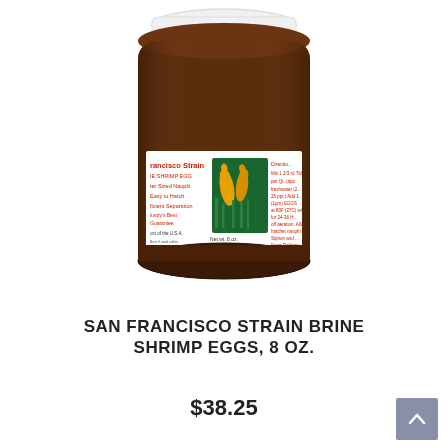[Figure (photo): A brown jar of San Francisco Strain Brine Shrimp Eggs 8 oz. with a white lid and a product label featuring seahorses and product information.]
SAN FRANCISCO STRAIN BRINE SHRIMP EGGS, 8 OZ.
$38.25